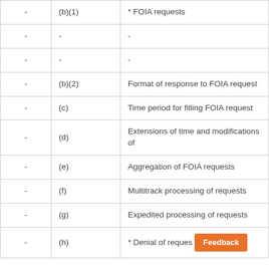|  |  |  |
| --- | --- | --- |
| - | (b)(1) | * FOIA requests |
| - | - | - |
| - | - | - |
| - | (b)(2) | Format of response to FOIA request |
| - | (c) | Time period for filling FOIA request |
| - | (d) | Extensions of time and modifications of |
| - | (e) | Aggregation of FOIA requests |
| - | (f) | Multitrack processing of requests |
| - | (g) | Expedited processing of requests |
| - | (h) | * Denial of reques… [Feedback] |